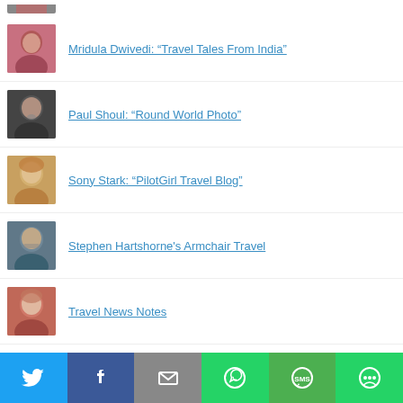[Figure (photo): Partial avatar photo at top (cropped)]
Mridula Dwivedi: “Travel Tales From India”
Paul Shoul: “Round World Photo”
Sony Stark: “PilotGirl Travel Blog”
Stephen Hartshorne's Armchair Travel
Travel News Notes
[Figure (infographic): Social sharing bar with Twitter, Facebook, Email, WhatsApp, SMS, and More buttons]